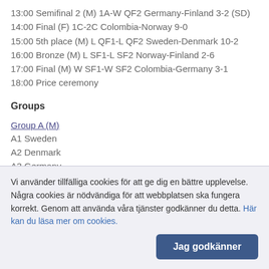13:00 Semifinal 2 (M) 1A-W QF2 Germany-Finland 3-2 (SD)
14:00 Final (F) 1C-2C Colombia-Norway 9-0
15:00 5th place (M) L QF1-L QF2 Sweden-Denmark 10-2
16:00 Bronze (M) L SF1-L SF2 Norway-Finland 2-6
17:00 Final (M) W SF1-W SF2 Colombia-Germany 3-1
18:00 Price ceremony
Groups
Group A (M)
A1 Sweden
A2 Denmark
A3 Germany
Group B (M)
B1 Colombia
Vi använder tillfälliga cookies för att ge dig en bättre upplevelse. Några cookies är nödvändiga för att webbplatsen ska fungera korrekt. Genom att använda våra tjänster godkänner du detta. Här kan du läsa mer om cookies.
Jag godkänner